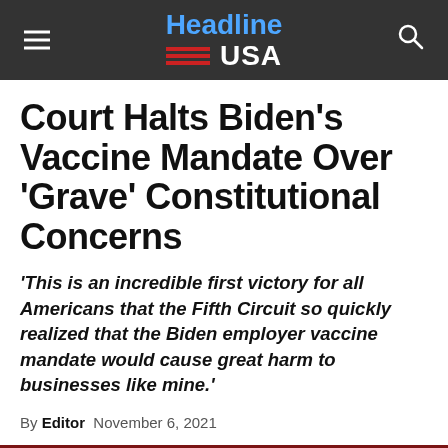Headline USA
Court Halts Biden’s Vaccine Mandate Over ‘Grave’ Constitutional Concerns
'This is an incredible first victory for all Americans that the Fifth Circuit so quickly realized that the Biden employer vaccine mandate would cause great harm to businesses like mine.'
By Editor  November 6, 2021
[Figure (photo): Photo of President Biden wearing sunglasses, gesturing with his hand, in front of an American flag backdrop]